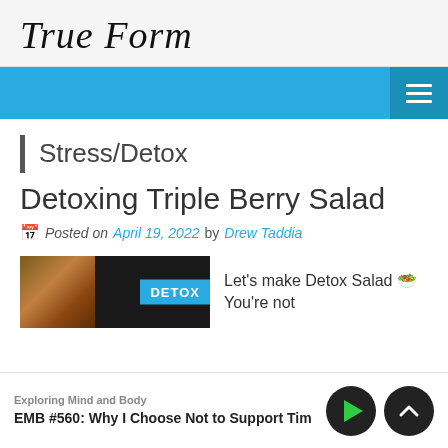True Form
[Figure (screenshot): Blue navigation bar with hamburger menu icon on right]
Stress/Detox
Detoxing Triple Berry Salad
Posted on April 19, 2022 by Drew Taddia
[Figure (screenshot): Video thumbnail showing person with DETOX badge and text: Let's make Detox Salad 🥗 You're not]
Exploring Mind and Body
EMB #560: Why I Choose Not to Support Tim I